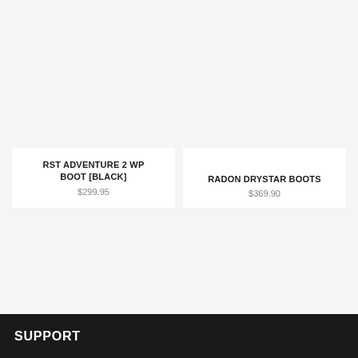[Figure (photo): Product image placeholder for RST Adventure 2 WP Boot [Black] - light gray background rectangle]
RST ADVENTURE 2 WP BOOT [BLACK]
$299.95
[Figure (photo): Product image placeholder for Radon Drystar Boots - light gray background rectangle]
RADON DRYSTAR BOOTS
$369.90
SUPPORT